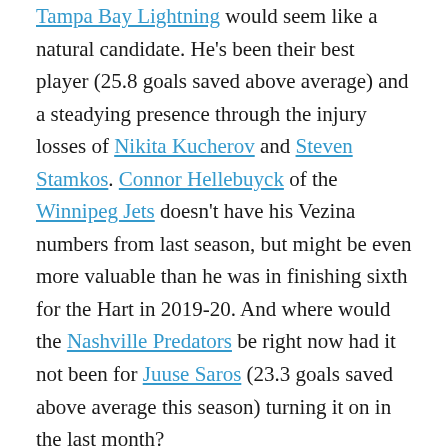Tampa Bay Lightning would seem like a natural candidate. He's been their best player (25.8 goals saved above average) and a steadying presence through the injury losses of Nikita Kucherov and Steven Stamkos. Connor Hellebuyck of the Winnipeg Jets doesn't have his Vezina numbers from last season, but might be even more valuable than he was in finishing sixth for the Hart in 2019-20. And where would the Nashville Predators be right now had it not been for Juuse Saros (23.3 goals saved above average this season) turning it on in the last month?
One of our voters had Mitchell Marner in their top three. Through 51 games, Marner had 64 points for the Toronto Maple Leafs. It's entirely possible he ends up leading Auston Matthews in total points, with Matthews bettering him in points per game (1.32 to 1.25 entering Monday night). What Marner will not have is Matthews's gaudy goal total (38 through 47 games), and the thought is that...